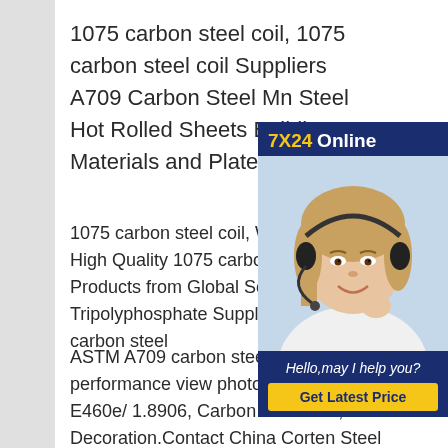1075 carbon steel coil, 1075 carbon steel coil Suppliers A709 Carbon Steel Mn Steel Hot Rolled Sheets Building Materials and Plates
1075 carbon steel coil, Wholesale High Quality 1075 carbon steel coil Products from Global Sodium Tripolyphosphate Suppliers and 1 carbon steel
[Figure (other): Chat widget with customer service representative wearing headset. Header shows '7X24 Online' in gold and white text on dark blue background. Below is a photo of a smiling woman with a headset. Bottom section shows 'Hello, may I help you?' in italic white text and a gold 'Get Latest Price' button on dark blue background.]
ASTM A709 carbon steel plate sheet performance view photo of A709 Typec/ E460e/ 1.8906, Carbon Structural, Decoration.Contact China Corten Steel